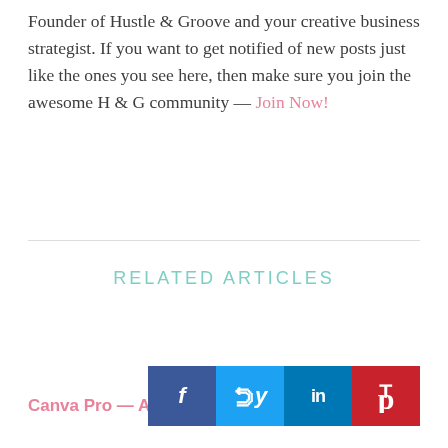Founder of Hustle & Groove and your creative business strategist. If you want to get notified of new posts just like the ones you see here, then make sure you join the awesome H & G community — Join Now!
RELATED ARTICLES
Canva Pro — A